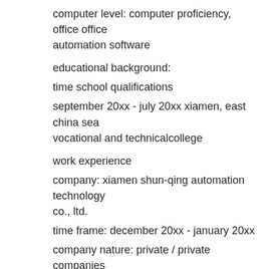computer level: computer proficiency, office office automation software
educational background:
time school qualifications
september 20xx - july 20xx xiamen, east china sea vocational and technicalcollege
work experience
company: xiamen shun-qing automation technology co., ltd.
time frame: december 20xx - january 20xx
company nature: private / private companies
their respective industries: trade, commerce, import and export